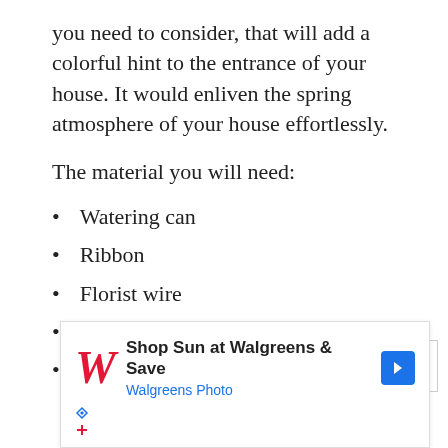you need to consider, that will add a colorful hint to the entrance of your house. It would enliven the spring atmosphere of your house effortlessly.
The material you will need:
Watering can
Ribbon
Florist wire
Wire cauter
Assorted spring pics
[Figure (other): Walgreens advertisement banner: 'Shop Sun at Walgreens & Save' with Walgreens Photo subtitle, red cursive W logo, and blue navigation arrow button]